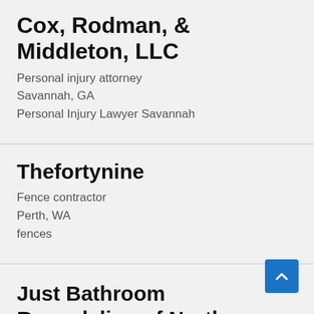Cox, Rodman, & Middleton, LLC
Personal injury attorney
Savannah, GA
Personal Injury Lawyer Savannah
Thefortynine
Fence contractor
Perth, WA
fences
Just Bathroom Remodeling of North Andover
Bathroom remodeler